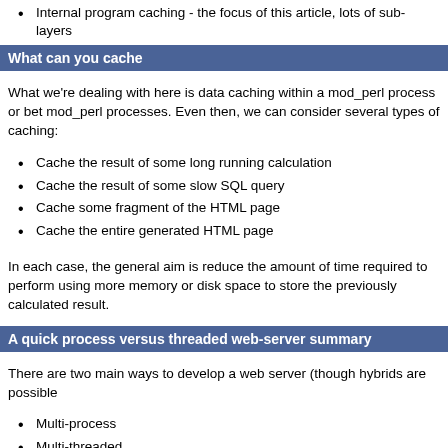Internal program caching - the focus of this article, lots of sub-layers
What can you cache
What we're dealing with here is data caching within a mod_perl process or bet mod_perl processes. Even then, we can consider several types of caching:
Cache the result of some long running calculation
Cache the result of some slow SQL query
Cache some fragment of the HTML page
Cache the entire generated HTML page
In each case, the general aim is reduce the amount of time required to perform using more memory or disk space to store the previously calculated result.
A quick process versus threaded web-server summary
There are two main ways to develop a web server (though hybrids are possible
Multi-process
Multi-threaded
In a multi-process system, a number of individual processes are forked, each o handles any new incoming request. In a multi-threaded system, there is one pr an internal set of threads, each of which handles a new incoming request. Bas summarise the differences as follows:
Robustness
Multi-process
Since each process is completely isolated, if any process crashes, no ot